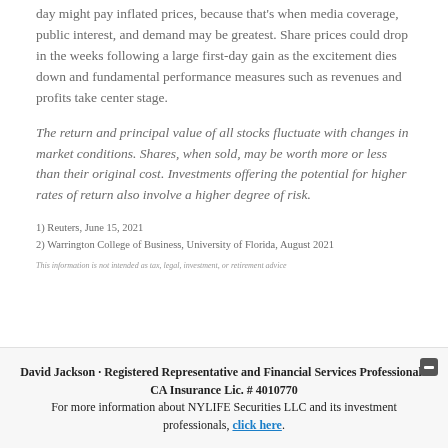day might pay inflated prices, because that's when media coverage, public interest, and demand may be greatest. Share prices could drop in the weeks following a large first-day gain as the excitement dies down and fundamental performance measures such as revenues and profits take center stage.
The return and principal value of all stocks fluctuate with changes in market conditions. Shares, when sold, may be worth more or less than their original cost. Investments offering the potential for higher rates of return also involve a higher degree of risk.
1) Reuters, June 15, 2021
2) Warrington College of Business, University of Florida, August 2021
This information is not intended as tax, legal, investment, or retirement advice
David Jackson · Registered Representative and Financial Services Professional · CA Insurance Lic. # 4010770 For more information about NYLIFE Securities LLC and its investment professionals, click here.